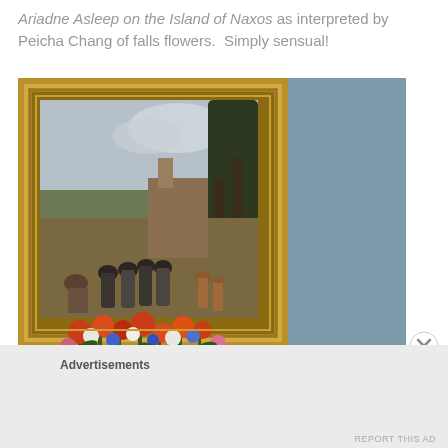Ariadne Asleep on the Island of Naxos as interpreted by Peicha Chang of falls flowers.  Simply sensual!
[Figure (photo): A gold-framed painting of a historical scene with multiple figures in period clothing, hanging on a blue-gray wall. In the foreground, a colorful floral arrangement with red, orange, white, and blue flowers is visible at the bottom of the frame.]
Advertisements